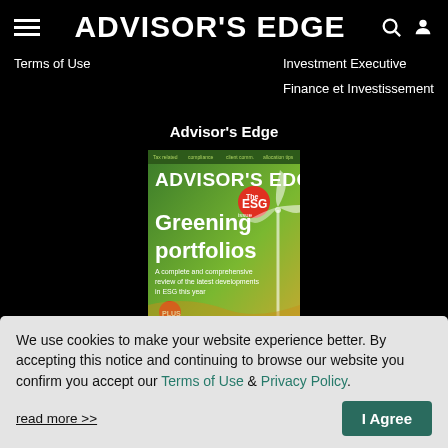ADVISOR'S EDGE
Terms of Use
Investment Executive
Finance et Investissement
Advisor's Edge
[Figure (illustration): Advisor's Edge magazine cover featuring ESG theme with wind turbines, green background, text 'ADVISOR'S EDGE', 'ESG', 'Greening portfolios']
We use cookies to make your website experience better. By accepting this notice and continuing to browse our website you confirm you accept our Terms of Use & Privacy Policy.
read more >>
I Agree